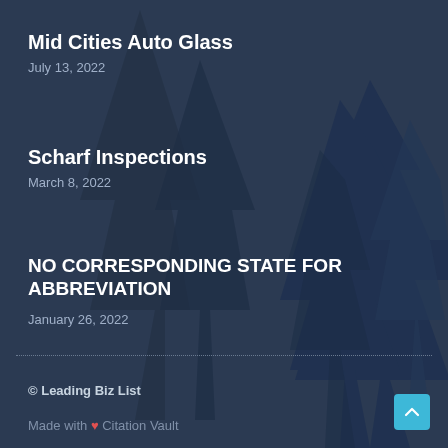Mid Cities Auto Glass
July 13, 2022
Scharf Inspections
March 8, 2022
NO CORRESPONDING STATE FOR ABBREVIATION
January 26, 2022
© Leading Biz List
Made with ❤ Citation Vault